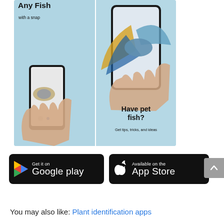[Figure (photo): App advertisement showing two panels side by side. Left panel: hand holding smartphone photographing a betta fish with text 'Any Fish with a snap' at top. Right panel: close-up of betta fish in hand with text 'Have pet fish? Get tips, tricks, and ideas'. Light blue background.]
[Figure (logo): Google Play store badge — black rounded rectangle with Google Play triangle logo and text 'Get it on Google play']
[Figure (logo): Apple App Store badge — black rounded rectangle with Apple logo and text 'Available on the App Store']
You may also like: Plant identification apps